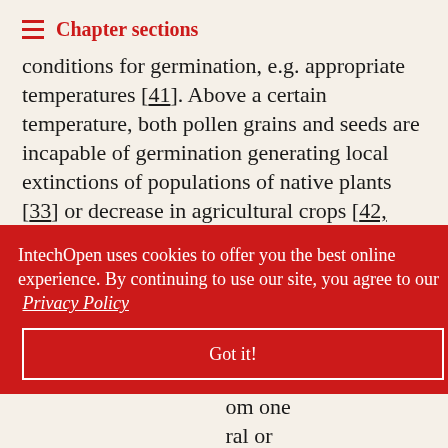Chapter sections
conditions for germination, e.g. appropriate temperatures [41]. Above a certain temperature, both pollen grains and seeds are incapable of germination generating local extinctions of populations of native plants [33] or decrease in agricultural crops [42, 39].
Another type of plant reproduction is vegetative propagation, e.g., potato and cassava crops. The propagation of plants by cuttings generates clonal [partially obscured] a plant do [partially obscured] om one [partially obscured] ural or [partially obscured] of the [partially obscured] The phase of [partially obscured] rticularly
IntechOpen uses cookies to offer you the best online experience. By continuing to use our site, you agree to our Privacy Policy
Got it!